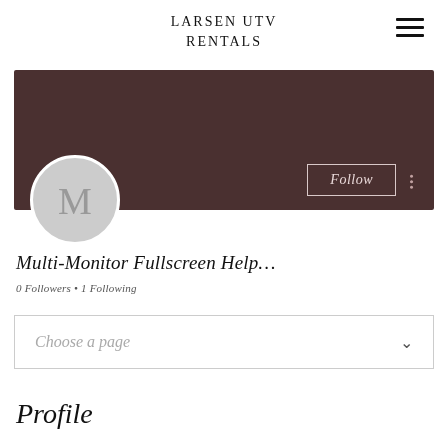LARSEN UTV RENTALS
[Figure (screenshot): Dark brown banner/cover photo area with a Follow button (outlined, italic) and three-dot menu icon on the right. A circular avatar with letter M overlaps the bottom left of the banner.]
Multi-Monitor Fullscreen Help…
0 Followers • 1 Following
Choose a page
Profile